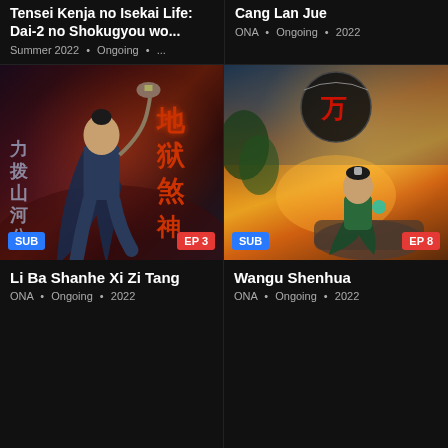Tensei Kenja no Isekai Life: Dai-2 no Shokugyou wo...
Summer 2022 • Ongoing • ...
Cang Lan Jue
ONA • Ongoing • 2022
[Figure (illustration): Dark fantasy animated series cover art showing a warrior with a weapon in a red-glowing cave environment with Chinese calligraphy. SUB badge bottom-left, EP 3 badge bottom-right.]
[Figure (illustration): Chinese animated series cover art showing a figure seated at sunset with a circular logo at top center. SUB badge bottom-left, EP 8 badge bottom-right.]
Li Ba Shanhe Xi Zi Tang
ONA • Ongoing • 2022
Wangu Shenhua
ONA • Ongoing • 2022